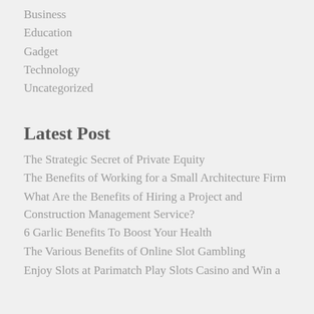Business
Education
Gadget
Technology
Uncategorized
Latest Post
The Strategic Secret of Private Equity
The Benefits of Working for a Small Architecture Firm
What Are the Benefits of Hiring a Project and Construction Management Service?
6 Garlic Benefits To Boost Your Health
The Various Benefits of Online Slot Gambling
Enjoy Slots at Parimatch Play Slots Casino and Win a